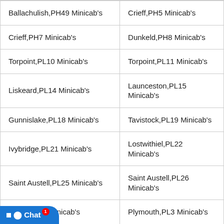| Ballachulish,PH49 Minicab's | Crieff,PH5 Minicab's |
| Crieff,PH7 Minicab's | Dunkeld,PH8 Minicab's |
| Torpoint,PL10 Minicab's | Torpoint,PL11 Minicab's |
| Liskeard,PL14 Minicab's | Launceston,PL15 Minicab's |
| Gunnislake,PL18 Minicab's | Tavistock,PL19 Minicab's |
| Ivybridge,PL21 Minicab's | Lostwithiel,PL22 Minicab's |
| Saint Austell,PL25 Minicab's | Saint Austell,PL26 Minicab's |
| Po[rtsmouth],PL[?] Minicab's | Plymouth,PL3 Minicab's |
| Ca[melford],PL[?] Minicab's | Delabole,PL33 Minicab's |
| Ply[mouth],PL[4] Minicab's | Plymouth,PL5 Minicab's |
| Ply[mouth],PL[8] Minicab's | Plymouth,PL9 Minicab's |
| [Hayling] Island,PO11 Minicab's | Gosport,PO12 Minicab's |